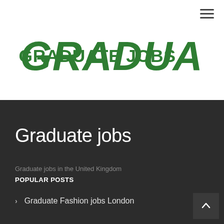[Figure (logo): Graduate Jobs logo in green brush-stroke style text]
Graduate jobs
Graduate jobs in the United Kingdom
POPULAR POSTS
Graduate Fashion jobs London